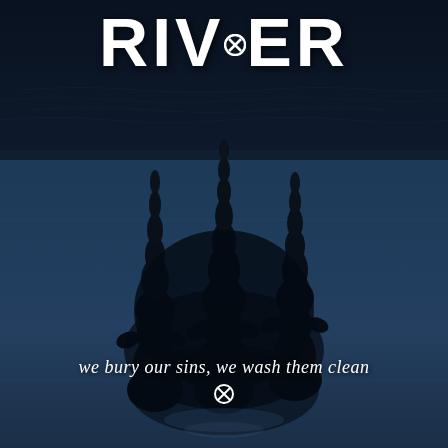[Figure (photo): Movie/TV show poster for 'RIVER'. Dark blue atmospheric image showing reflections of three silhouetted figures (upside down) on still dark water, giving an eerie, moody effect. The top portion shows the water surface with ripples and the reflection of the three figures, while the lower portion is a deep blue-grey water surface. The overall tone is dark, blue-tinted, and cinematic.]
RIVER
we bury our sins, we wash them clean